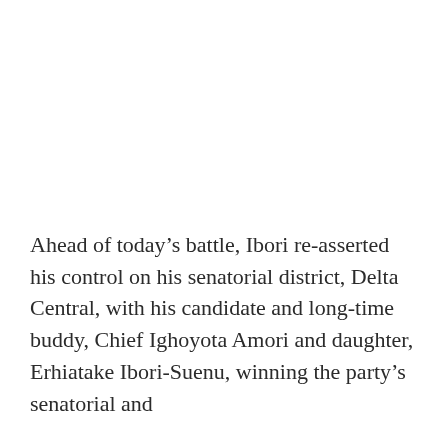Ahead of today's battle, Ibori re-asserted his control on his senatorial district, Delta Central, with his candidate and long-time buddy, Chief Ighoyota Amori and daughter, Erhiatake Ibori-Suenu, winning the party's senatorial and